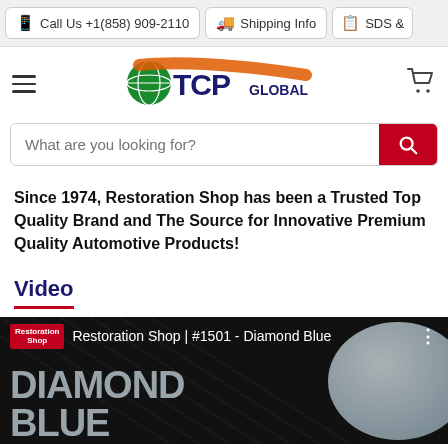📱 Call Us +1(858) 909-2110  🚚 Shipping Info  📋 SDS &
[Figure (logo): TCP Global logo with globe icon, orange swoosh, dark blue TCP text, and GLOBAL subtitle]
What are you looking for?
Since 1974, Restoration Shop has been a Trusted Top Quality Brand and The Source for Innovative Premium Quality Automotive Products!
Video
[Figure (screenshot): YouTube video thumbnail for Restoration Shop #1501 - Diamond Blue, showing large stylized text DIAMOND BLUE in dark gray on black background with a light-colored automotive product on the right side]